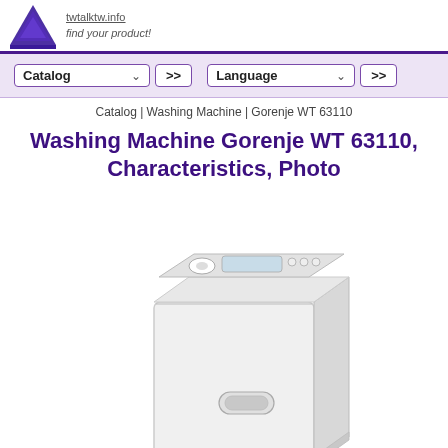twtalktw.info find your product!
Catalog   >>   Language   >>
Catalog | Washing Machine | Gorenje WT 63110
Washing Machine Gorenje WT 63110, Characteristics, Photo
[Figure (photo): Photo of a top-loading Gorenje WT 63110 washing machine, white color, viewed from a slight angle showing the top control panel and the front/side of the unit.]